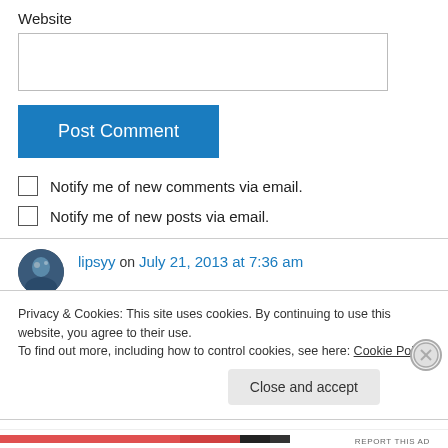Website
[Figure (screenshot): Empty text input field for website URL]
[Figure (screenshot): Post Comment button in blue]
Notify me of new comments via email.
Notify me of new posts via email.
lipsyy on July 21, 2013 at 7:36 am
Privacy & Cookies: This site uses cookies. By continuing to use this website, you agree to their use.
To find out more, including how to control cookies, see here: Cookie Policy
Close and accept